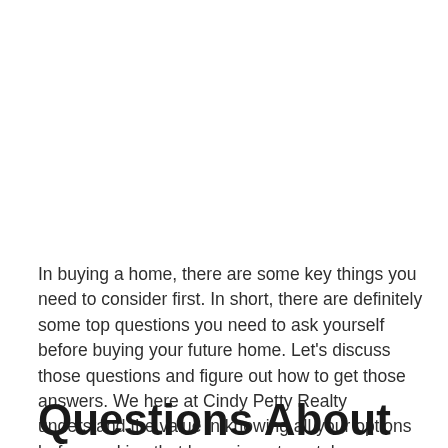In buying a home, there are some key things you need to consider first. In short, there are definitely some top questions you need to ask yourself before buying your future home. Let's discuss those questions and figure out how to get those answers. We here at Cindy Petty Realty understand the value in knowing all your options before making that home investment; hence, we're blogging about it!
Questions About Your Family